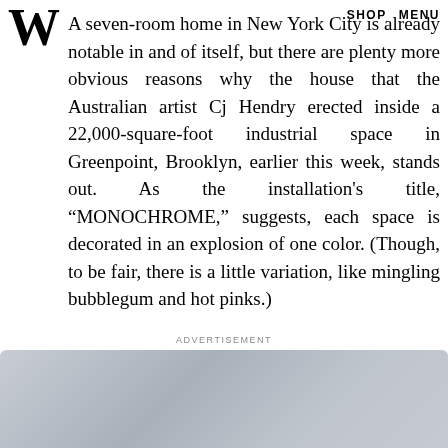W  SHOP  MENU
A seven-room home in New York City is already notable in and of itself, but there are plenty more obvious reasons why the house that the Australian artist Cj Hendry erected inside a 22,000-square-foot industrial space in Greenpoint, Brooklyn, earlier this week, stands out. As the installation's title, “MONOCHROME,” suggests, each space is decorated in an explosion of one color. (Though, to be fair, there is a little variation, like mingling bubblegum and hot pinks.)
ADVERTISEMENT
[Figure (other): Volvo advertisement with logo and tagline 'The Volvo XC90 Recharge Plug-in Hybrid' on a gray gradient background]